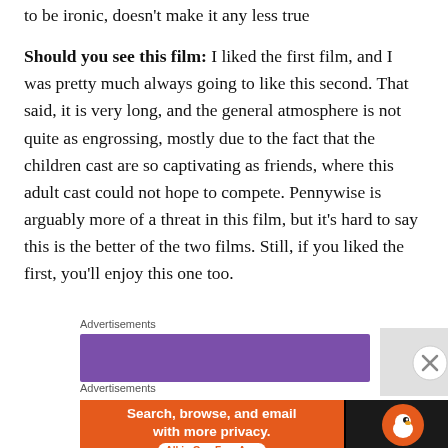to be ironic, doesn't make it any less true
Should you see this film: I liked the first film, and I was pretty much always going to like this second. That said, it is very long, and the general atmosphere is not quite as engrossing, mostly due to the fact that the children cast are so captivating as friends, where this adult cast could not hope to compete. Pennywise is arguably more of a threat in this film, but it's hard to say this is the better of the two films. Still, if you liked the first, you'll enjoy this one too.
Advertisements
[Figure (other): Purple advertisement banner bar]
[Figure (other): Close/X button circle]
Advertisements
[Figure (other): DuckDuckGo advertisement banner: Search, browse, and email with more privacy. All in One Free App]